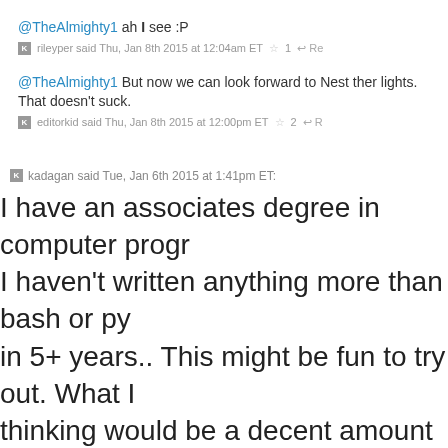@TheAlmighty1 ah I see :P
rileyper said Thu, Jan 8th 2015 at 12:04am ET  ☆1  ↩ Re
@TheAlmighty1 But now we can look forward to Nest ther lights. That doesn't suck.
editorkid said Thu, Jan 8th 2015 at 12:00pm ET  ☆2  ↩ R
kadagan said Tue, Jan 6th 2015 at 1:41pm ET:
I have an associates degree in computer progr I haven't written anything more than bash or py in 5+ years.. This might be fun to try out. What I thinking would be a decent amount of work pr would love to write a program that runs and ch new deal.. If the deal is $x or less (probably $5